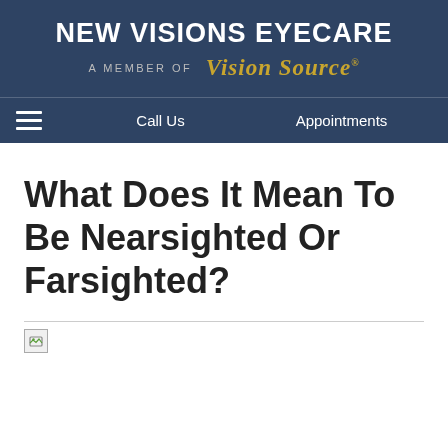NEW VISIONS EYECARE — A MEMBER OF Vision Source
Call Us | Appointments
What Does It Mean To Be Nearsighted Or Farsighted?
[Figure (photo): Broken/missing image placeholder at top of article]